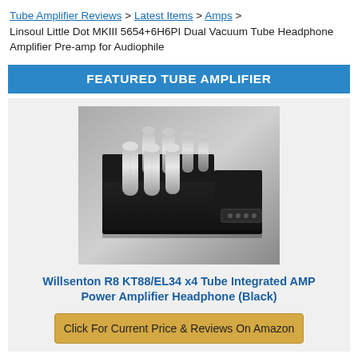Tube Amplifier Reviews > Latest Items > Amps > Linsoul Little Dot MKIII 5654+6H6PI Dual Vacuum Tube Headphone Amplifier Pre-amp for Audiophile
FEATURED TUBE AMPLIFIER
[Figure (photo): Photo of Willsenton R8 KT88/EL34 x4 Tube Integrated AMP Power Amplifier with remote control, showing vacuum tubes on top, black chassis, on a metallic surface]
Willsenton R8 KT88/EL34 x4 Tube Integrated AMP Power Amplifier Headphone (Black)
Click For Current Price & Reviews On Amazon